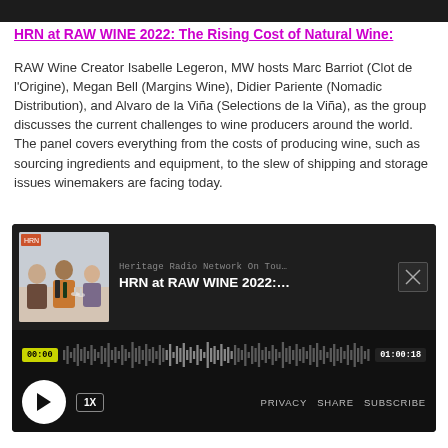[Figure (photo): Dark top image strip, partial view of a previous section]
HRN at RAW WINE 2022: The Rising Cost of Natural Wine:
RAW Wine Creator Isabelle Legeron, MW hosts Marc Barriot (Clot de l'Origine), Megan Bell (Margins Wine), Didier Pariente (Nomadic Distribution), and Alvaro de la Viña (Selections de la Viña), as the group discusses the current challenges to wine producers around the world. The panel covers everything from the costs of producing wine, such as sourcing ingredients and equipment, to the slew of shipping and storage issues winemakers are facing today.
[Figure (screenshot): Embedded podcast player widget with dark background showing 'Heritage Radio Network On Tou...' and 'HRN at RAW WINE 2022:...' title, a thumbnail photo of panelists at a table with wine glasses, a waveform with timestamps 00:00 and 01:00:18, play button, 1X speed button, and PRIVACY SHARE SUBSCRIBE links.]